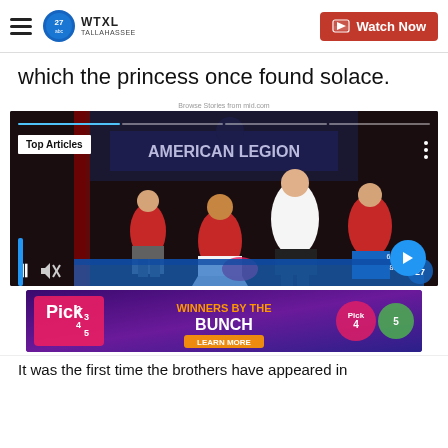WTXL TALLAHASSEE — Watch Now
which the princess once found solace.
Browse Stories from mid.com
[Figure (screenshot): Video player showing people in red shirts sorting items at what appears to be an American Legion hall. Controls show pause button, mute icon, forward arrow button, and progress indicator. 'Top Articles' badge visible in upper left corner.]
[Figure (screenshot): Advertisement banner: Pick 2 3 4 5 — Winners by the Bunch — Learn More]
It was the first time the brothers have appeared in